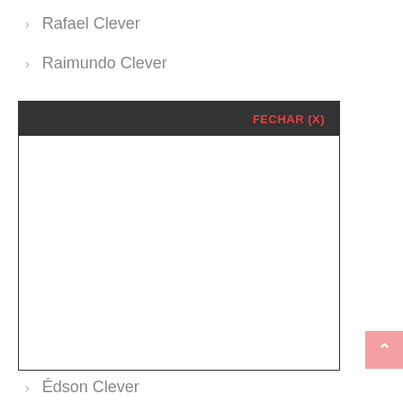Rafael Clever
Raimundo Clever
[Figure (screenshot): A modal/popup dialog box with a dark header bar containing 'FECHAR (X)' in red text, and a white empty body area. Overlapping the list content.]
Rodolfo Clever
Édson Clever